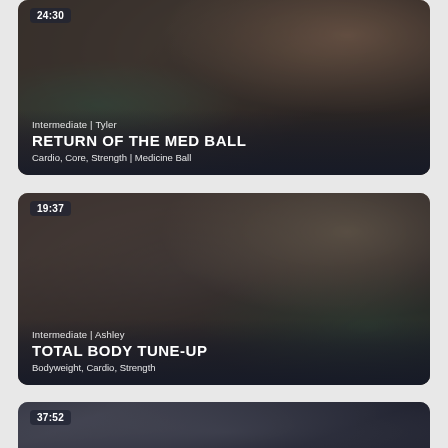[Figure (photo): Workout video thumbnail showing a person doing a lateral lunge stretch in an indoor gym with brick walls. Timestamp 24:30 shown top-left. Text overlay shows: Intermediate | Tyler / RETURN OF THE MED BALL / Cardio, Core, Strength | Medicine Ball]
[Figure (photo): Workout video thumbnail showing a person in athletic wear smiling in an indoor space with brick walls and large windows. Timestamp 19:37 shown top-left. Text overlay shows: Intermediate | Ashley / TOTAL BODY TUNE-UP / Bodyweight, Cardio, Strength]
[Figure (photo): Partial workout video thumbnail showing a person at bottom of frame. Timestamp 37:52 shown top-left. Partially cut off at bottom of page.]